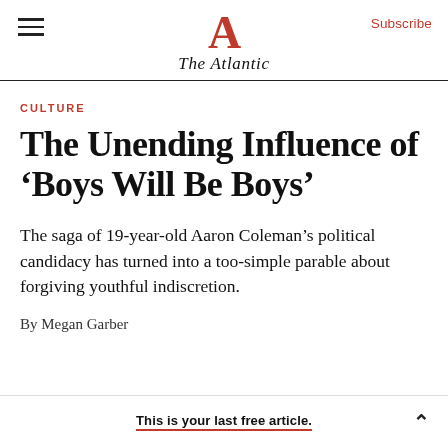The Atlantic — Subscribe
CULTURE
The Unending Influence of 'Boys Will Be Boys'
The saga of 19-year-old Aaron Coleman's political candidacy has turned into a too-simple parable about forgiving youthful indiscretion.
By Megan Garber
This is your last free article.